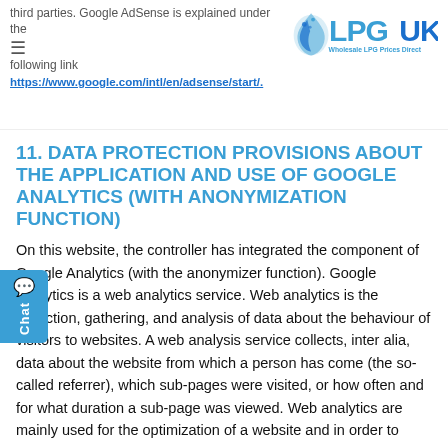third parties. Google AdSense is explained under the following link
https://www.google.com/intl/en/adsense/start/.
11. DATA PROTECTION PROVISIONS ABOUT THE APPLICATION AND USE OF GOOGLE ANALYTICS (WITH ANONYMIZATION FUNCTION)
On this website, the controller has integrated the component of Google Analytics (with the anonymizer function). Google Analytics is a web analytics service. Web analytics is the collection, gathering, and analysis of data about the behaviour of visitors to websites. A web analysis service collects, inter alia, data about the website from which a person has come (the so-called referrer), which sub-pages were visited, or how often and for what duration a sub-page was viewed. Web analytics are mainly used for the optimization of a website and in order to carry out a cost-